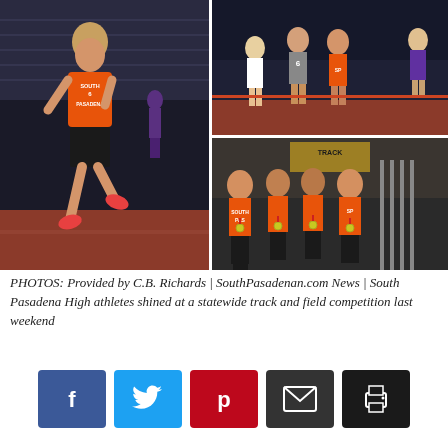[Figure (photo): Composite of three sports photos: left shows a South Pasadena runner wearing orange jersey with number 6 sprinting on a track at night; top right shows female runners in a track race at night; bottom right shows four male athletes in orange South Pasadena jerseys wearing medals, posing together.]
PHOTOS: Provided by C.B. Richards | SouthPasadenan.com News | South Pasadena High athletes shined at a statewide track and field competition last weekend
[Figure (infographic): Social sharing buttons row: Facebook (blue), Twitter (cyan), Pinterest (red), Email (dark grey), Print (black)]